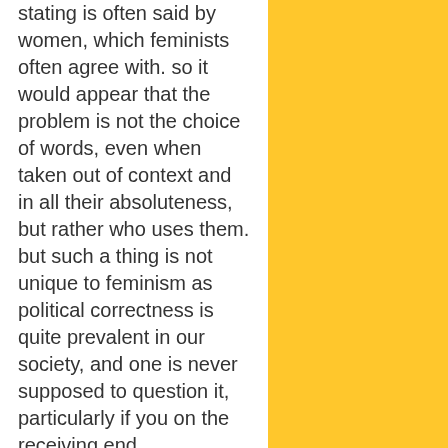stating is often said by women, which feminists often agree with. so it would appear that the problem is not the choice of words, even when taken out of context and in all their absoluteness, but rather who uses them. but such a thing is not unique to feminism as political correctness is quite prevalent in our society, and one is never supposed to question it, particularly if you on the receiving end.
but i do enjoy such statements as: "They're afraid of what they've been told feminism is, they're afraid of the few examples they *may*